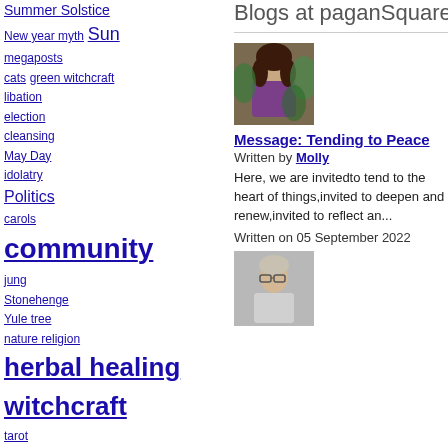Summer Solstice
New year myth
Sun megaposts
cats
green witchcraft
libation
election
cleansing
May Day
idolatry
Politics
carols
community
jung
Stonehenge
Yule tree
nature religion
herbal healing witchcraft
tarot
magick
book reviews
ancient history
animal wisdom
eggs
Thirteen Days of Yule
Neopaganism
reviews
Blogs at paganSquare
[Figure (photo): Photo of a woman with dark curly hair outdoors in greenery, wearing a purple top]
Message: Tending to Peace
Written by Molly
Here, we are invitedto tend to the heart of things,invited to deepen and renew,invited to reflect an...
Written on 05 September 2022
[Figure (photo): Photo of a person with glasses and light hair]